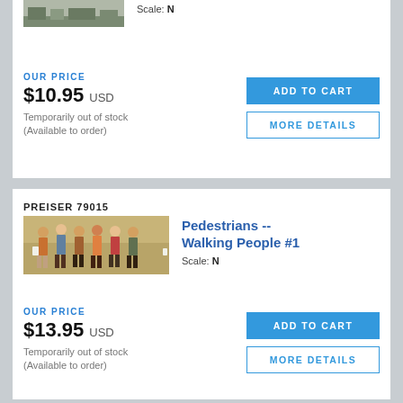[Figure (photo): Product image of a model train set item (partially visible at top)]
Scale: N
OUR PRICE
$10.95 USD
Temporarily out of stock (Available to order)
ADD TO CART
MORE DETAILS
PREISER 79015
[Figure (photo): Product image of Preiser 79015 Pedestrians Walking People #1 model figures — group of people walking]
Pedestrians -- Walking People #1
Scale: N
OUR PRICE
$13.95 USD
Temporarily out of stock (Available to order)
ADD TO CART
MORE DETAILS